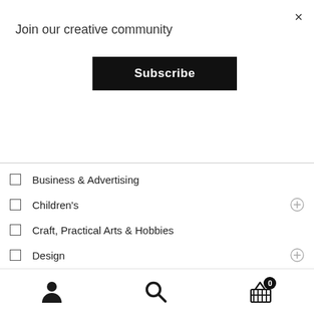×
Join our creative community
Subscribe
Business & Advertising
Children's
Craft, Practical Arts & Hobbies
Design
Fashion & Textiles
History & Archaeology
Humour, Games & Gifts
Lifestyle
Nature & Outdoors
Natural History & Science
Photography
[Figure (infographic): Bottom navigation bar with user profile icon, search icon, and shopping basket icon with badge showing 0]